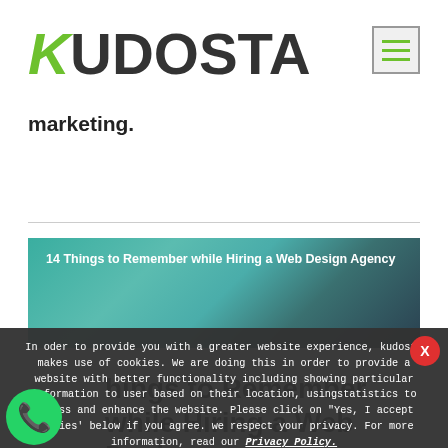KUDOSTA
marketing.
[Figure (screenshot): Article card thumbnail with teal/dark blue gradient background showing text '14 Things to Remember while Hiring a Web Design Agency']
In oder to provide you with a greater website experience, kudosta makes use of cookies. We are doing this in order to provide a website with better functionality including showing particular information to user based on their location, usingstatistics to assess and enhance the website. Please click on "Yes, I accept cookies' below if you agree. we respect your privacy. For more information, read our Privacy Policy.
I AGREE
14 Things to Remember while Hiring a Web Design